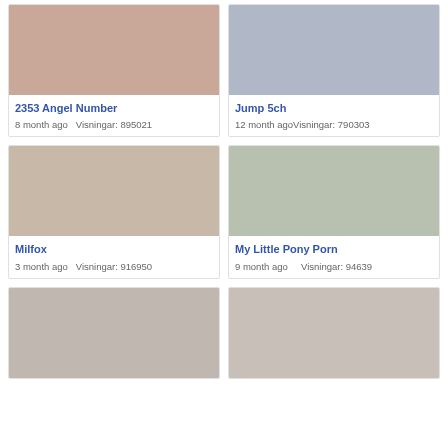[Figure (photo): Thumbnail image 1]
2353 Angel Number
8 month ago  Visningar: 895021
[Figure (photo): Thumbnail image 2]
Jump 5ch
12 month agoVisningar: 790303
[Figure (photo): Thumbnail image 3]
Milfox
3 month ago  Visningar: 916950
[Figure (photo): Thumbnail image 4]
My Little Pony Porn
9 month ago    Visningar: 94639
[Figure (photo): Thumbnail image 5]
[Figure (photo): Thumbnail image 6]